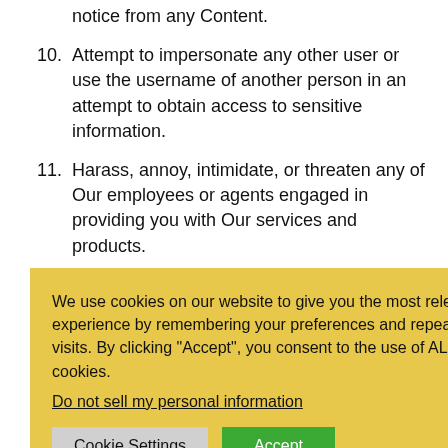notice from any Content.
10. Attempt to impersonate any other user or use the username of another person in an attempt to obtain access to sensitive information.
11. Harass, annoy, intimidate, or threaten any of Our employees or agents engaged in providing you with Our services and products.
12. [partial - obscured by cookie banner] ...site, including ...resses of users ...oose of sending ...unts by ...ses.
13. [partial - obscured by cookie banner] ...compete with Us ...Content for any ...rcial enterprise.
[Figure (screenshot): Cookie consent popup with yellow background. Text: 'We use cookies on our website to give you the most relevant experience by remembering your preferences and repeat visits. By clicking "Accept", you consent to the use of ALL the cookies.' Link: 'Do not sell my personal information'. Buttons: 'Cookie Settings' (grey) and 'Accept' (green).]
14. Use the Website to advertise or offer to sell goods and